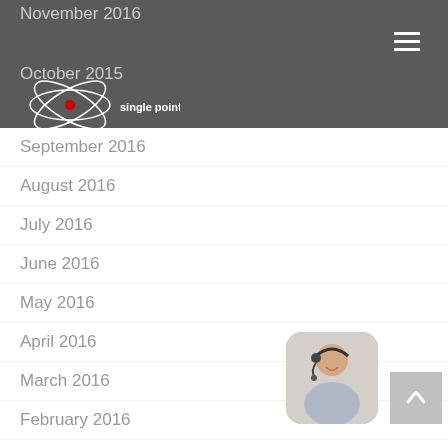single point of contact — navigation header with logo and hamburger menu
November 2016
October 2015
September 2016
August 2016
July 2016
June 2016
May 2016
April 2016
March 2016
February 2016
January 2016
December 2015
May 2013
[Figure (photo): Woman with headset smiling, customer service representative, rounded rectangle thumbnail in bottom right]